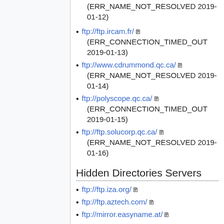(ERR_NAME_NOT_RESOLVED 2019-01-12)
ftp://ftp.ircam.fr/ (ERR_CONNECTION_TIMED_OUT 2019-01-13)
ftp://www.cdrummond.qc.ca/ (ERR_NAME_NOT_RESOLVED 2019-01-14)
ftp://polyscope.qc.ca/ (ERR_CONNECTION_TIMED_OUT 2019-01-15)
ftp://ftp.solucorp.qc.ca/ (ERR_NAME_NOT_RESOLVED 2019-01-16)
Hidden Directories Servers
ftp://ftp.iza.org/
ftp://ftp.aztech.com/
ftp://mirror.easyname.at/